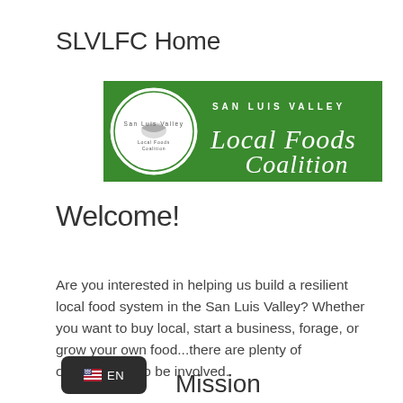SLVLFC Home
[Figure (logo): San Luis Valley Local Foods Coalition banner logo — green background with white circular emblem on the left and cursive script 'Local Foods Coalition' with 'SAN LUIS VALLEY' in block letters above]
Welcome!
Are you interested in helping us build a resilient local food system in the San Luis Valley? Whether you want to buy local, start a business, forage, or grow your own food...there are plenty of opportunities to be involved.
[Figure (other): Language selector button showing US flag emoji and 'EN' text on dark background]
Mission